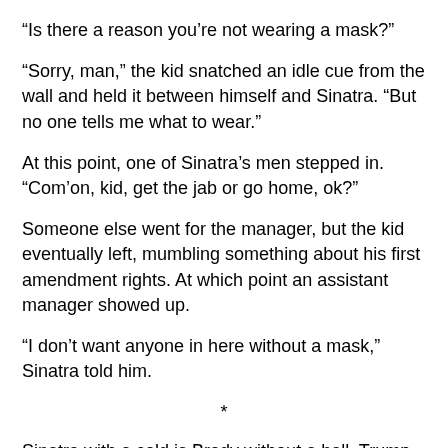“Is there a reason you’re not wearing a mask?”
“Sorry, man,” the kid snatched an idle cue from the wall and held it between himself and Sinatra. “But no one tells me what to wear.”
At this point, one of Sinatra’s men stepped in. “Com’on, kid, get the jab or go home, ok?”
Someone else went for the manager, but the kid eventually left, mumbling something about his first amendment rights. At which point an assistant manager showed up.
“I don’t want anyone in here without a mask,” Sinatra told him.
*
Sinatra with a cold is Brady without a ball, Trump without Twitter. Robbed of his fleet-footed voice, the singer becomes surly, initiating what one writer has called a “psychosomatic